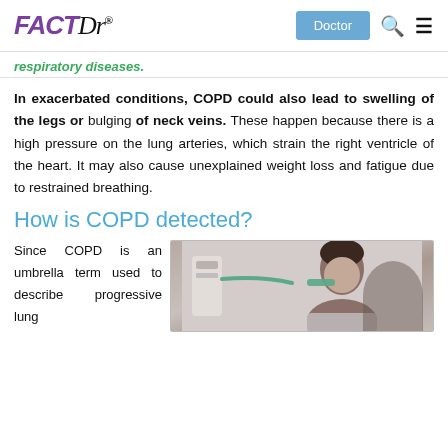FACTDr — Doctor | Search | Menu
respiratory diseases.
In exacerbated conditions, COPD could also lead to swelling of the legs or bulging of neck veins. These happen because there is a high pressure on the lung arteries, which strain the right ventricle of the heart. It may also cause unexplained weight loss and fatigue due to restrained breathing.
How is COPD detected?
Since COPD is an umbrella term used to describe progressive lung
[Figure (photo): A person using a medical respiratory/breathing device, viewed from the side, with a mouthpiece near their face. Medical equipment visible in background.]